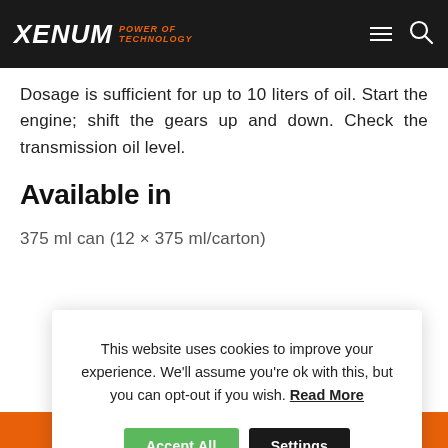XENUM POWER OF TECHNOLOGY
Dosage is sufficient for up to 10 liters of oil. Start the engine; shift the gears up and down. Check the transmission oil level.
Available in
375 ml can (12 × 375 ml/carton)
This website uses cookies to improve your experience. We'll assume you're ok with this, but you can opt-out if you wish. Read More
TDS